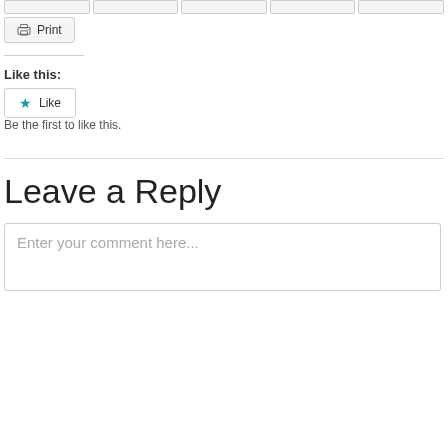[Figure (screenshot): Row of partial social sharing buttons at top of page, cropped]
Print
Like this:
Like
Be the first to like this.
Leave a Reply
Enter your comment here...